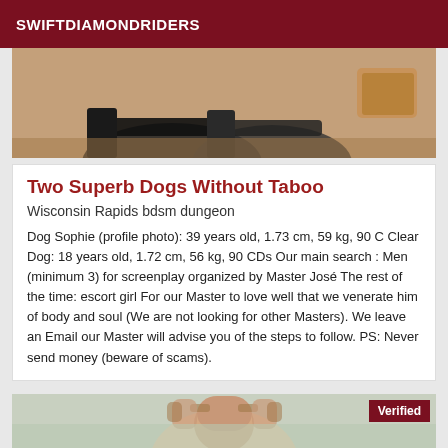SWIFTDIAMONDRIDERS
[Figure (photo): Top portion of a photo showing shoes/heels on a surface, cropped at top]
Two Superb Dogs Without Taboo
Wisconsin Rapids bdsm dungeon
Dog Sophie (profile photo): 39 years old, 1.73 cm, 59 kg, 90 C Clear Dog: 18 years old, 1.72 cm, 56 kg, 90 CDs Our main search : Men (minimum 3) for screenplay organized by Master José The rest of the time: escort girl For our Master to love well that we venerate him of body and soul (We are not looking for other Masters). We leave an Email our Master will advise you of the steps to follow. PS: Never send money (beware of scams).
[Figure (photo): Photo of a person with hands behind head, partially visible, with a Verified badge in top right corner]